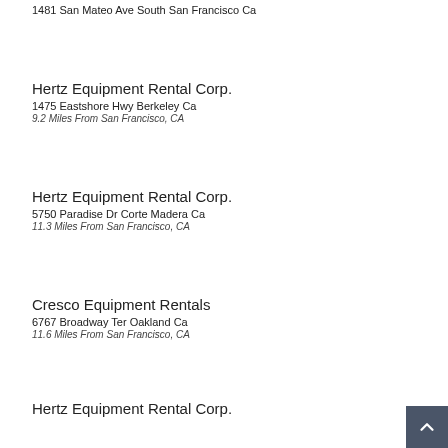1481 San Mateo Ave South San Francisco Ca
Hertz Equipment Rental Corp.
1475 Eastshore Hwy Berkeley Ca
9.2 Miles From San Francisco, CA
Hertz Equipment Rental Corp.
5750 Paradise Dr Corte Madera Ca
11.3 Miles From San Francisco, CA
Cresco Equipment Rentals
6767 Broadway Ter Oakland Ca
11.6 Miles From San Francisco, CA
Hertz Equipment Rental Corp.